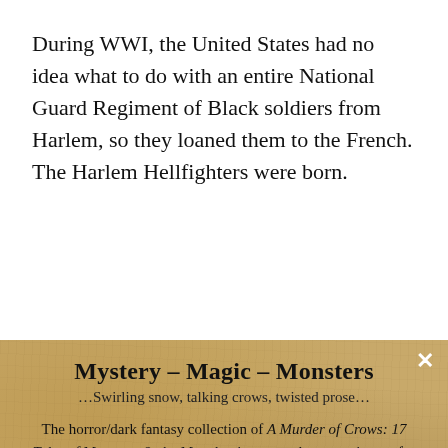During WWI, the United States had no idea what to do with an entire National Guard Regiment of Black soldiers from Harlem, so they loaned them to the French. The Harlem Hellfighters were born.
Mystery - Magic - Monsters
...Swirling snow, talking crows, twisted prose...
The horror/dark fantasy collection of A Murder of Crows: 17 Tales of Monsters & the Macabre is yours when you sign up for the Wonderland Press newsletter.
Monthly articles - book reviews - updates & promos